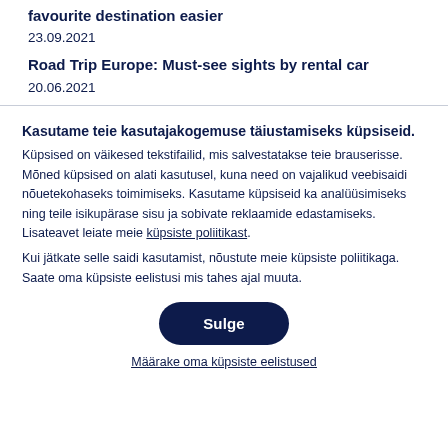favourite destination easier
23.09.2021
Road Trip Europe: Must-see sights by rental car
20.06.2021
Kasutame teie kasutajakogemuse täiustamiseks küpsiseid.
Küpsised on väikesed tekstifailid, mis salvestatakse teie brauserisse. Mõned küpsised on alati kasutusel, kuna need on vajalikud veebisaidi nõuetekohaseks toimimiseks. Kasutame küpsiseid ka analüüsimiseks ning teile isikupärase sisu ja sobivate reklaamide edastamiseks. Lisateavet leiate meie küpsiste poliitikast.
Kui jätkate selle saidi kasutamist, nõustute meie küpsiste poliitikaga. Saate oma küpsiste eelistusi mis tahes ajal muuta.
Sulge
Määrake oma küpsiste eelistused